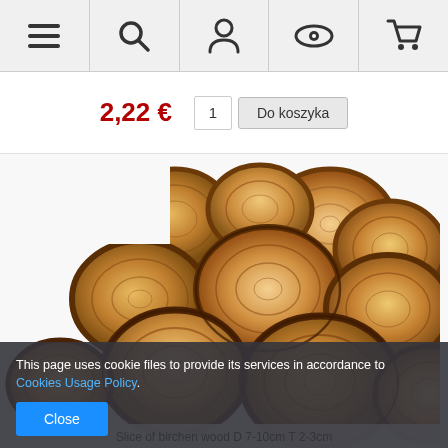[Navigation bar with menu, search, account, eye/wishlist, and cart icons]
2,22 €
1  Do koszyka
[Figure (photo): Pile of birch wood round slices/discs of various sizes photographed on white background]
This page uses cookie files to provide its services in accordance to Cookies Usage Policy.
Close
Slice of birchen wood D 7-10cm T 2-3cm